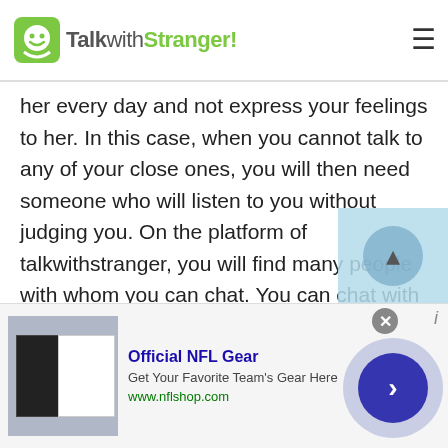TalkwithStranger!
her every day and not express your feelings to her. In this case, when you cannot talk to any of your close ones, you will then need someone who will listen to you without judging you. On the platform of talkwithstranger, you will find many people with whom you can chat. You can chat with random people of Austria.
For example, On TWS you can arrange virtual parties, have birthday celebrations, New Year's Eve online cam chat and chat with people of Austria too. However, socializing is not always about the fun...
[Figure (screenshot): Official NFL Gear advertisement with jersey image, title 'Official NFL Gear', description 'Get Your Favorite Team's Gear Here', URL 'www.nflshop.com']